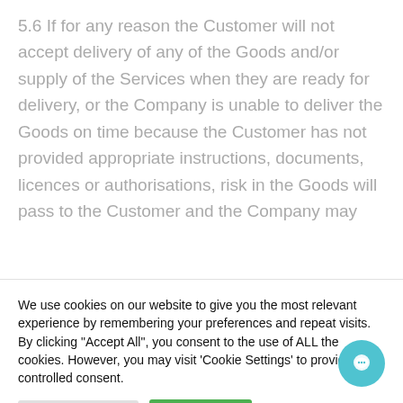5.6 If for any reason the Customer will not accept delivery of any of the Goods and/or supply of the Services when they are ready for delivery, or the Company is unable to deliver the Goods on time because the Customer has not provided appropriate instructions, documents, licences or authorisations, risk in the Goods will pass to the Customer and the Company may
We use cookies on our website to give you the most relevant experience by remembering your preferences and repeat visits. By clicking "Accept All", you consent to the use of ALL the cookies. However, you may visit 'Cookie Settings' to provide a controlled consent.